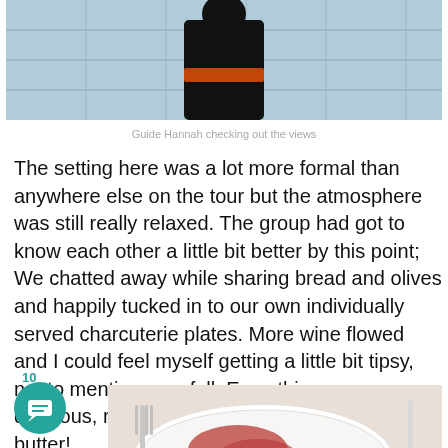[Figure (photo): Photo of a person (silhouette) standing against a tiled wall/ceiling, seen from behind, wearing dark clothing with an orange/red waistband detail.]
Guide Hannah checking out the views
The setting here was a lot more formal than anywhere else on the tour but the atmosphere was still really relaxed. The group had got to know each other a little bit better by this point; We chatted away while sharing bread and olives and happily tucked in to our own individually served charcuterie plates. More wine flowed and I could feel myself getting a little bit tipsy, not to mention very full. Everything was delicious, right down to the whipped salted butter!
[Figure (photo): Photo of a white plate with charcuterie — sliced meats and vegetables — with cutlery visible.]